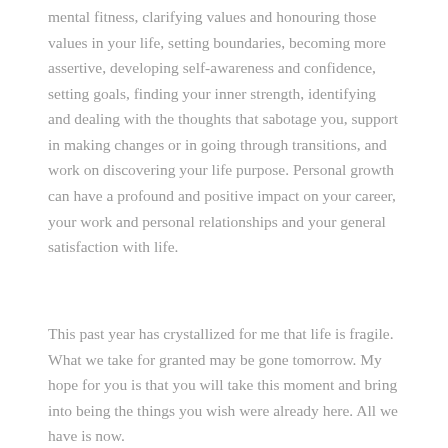mental fitness, clarifying values and honouring those values in your life, setting boundaries, becoming more assertive, developing self-awareness and confidence, setting goals, finding your inner strength, identifying and dealing with the thoughts that sabotage you, support in making changes or in going through transitions, and work on discovering your life purpose. Personal growth can have a profound and positive impact on your career, your work and personal relationships and your general satisfaction with life.
This past year has crystallized for me that life is fragile. What we take for granted may be gone tomorrow. My hope for you is that you will take this moment and bring into being the things you wish were already here. All we have is now.
SUE DAS, CPCC, ACC, B SOC SC (SW)
Connect with me